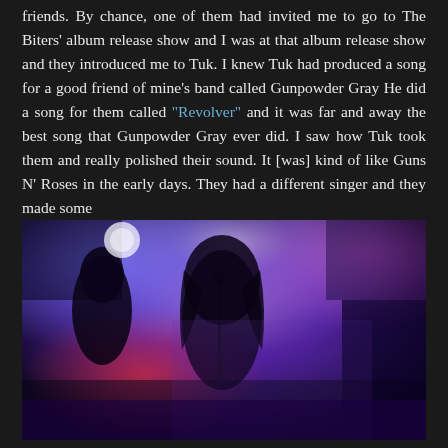friends. By chance, one of them had invited me to go to The Biters' album release show and I was at that album release show and they introduced me to Tuk. I knew Tuk had produced a song for a good friend of mine's band called Gunpowder Gray He did a song for them called "Revolver" and it was far and away the best song that Gunpowder Gray ever did. I saw how Tuk took them and really polished their sound. It [was] kind of like Guns N' Roses in the early days. They had a different singer and they made some
[Figure (photo): Concert photo showing a rock band performing on stage with purple and blue stage lighting. A singer with long curly dark hair is at the microphone stand in the center. Another performer is visible on the left. The background shows colorful stage lights in purple, blue, and red hues.]